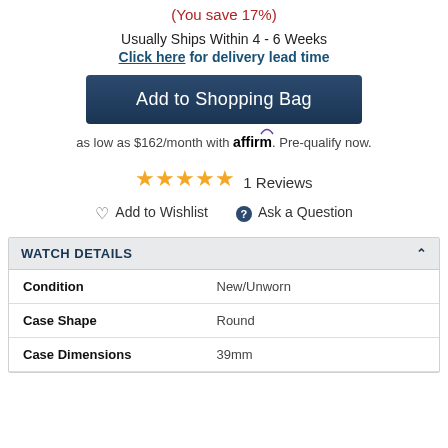(You save 17%)
Usually Ships Within 4 - 6 Weeks
Click here for delivery lead time
Add to Shopping Bag
as low as $162/month with affirm. Pre-qualify now.
★★★★★ 1 Reviews
♡ Add to Wishlist   ❓ Ask a Question
WATCH DETAILS
|  |  |
| --- | --- |
| Condition | New/Unworn |
| Case Shape | Round |
| Case Dimensions | 39mm |